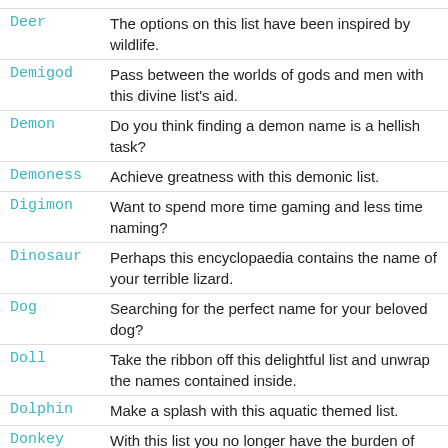Deer: The options on this list have been inspired by wildlife.
Demigod: Pass between the worlds of gods and men with this divine list's aid.
Demon: Do you think finding a demon name is a hellish task?
Demoness: Achieve greatness with this demonic list.
Digimon: Want to spend more time gaming and less time naming?
Dinosaur: Perhaps this encyclopaedia contains the name of your terrible lizard.
Dog: Searching for the perfect name for your beloved dog?
Doll: Take the ribbon off this delightful list and unwrap the names contained inside.
Dolphin: Make a splash with this aquatic themed list.
Donkey: With this list you no longer have the burden of finding a name alone.
Dragon: Thousands of carefully hand-picked dragon names in one tidy list.